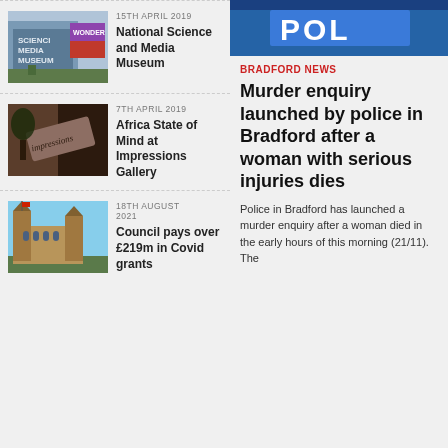[Figure (photo): Police sign photo at top right]
15TH APRIL 2019
[Figure (photo): National Science and Media Museum exterior]
National Science and Media Museum
7TH APRIL 2019
[Figure (photo): Impressions Gallery signage]
Africa State of Mind at Impressions Gallery
18TH AUGUST 2021
[Figure (photo): Bradford Council building]
Council pays over £219m in Covid grants
BRADFORD NEWS
Murder enquiry launched by police in Bradford after a woman with serious injuries dies
Police in Bradford has launched a murder enquiry after a woman died in the early hours of this morning (21/11). The